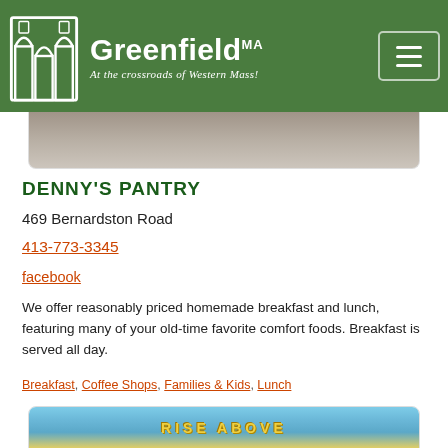Greenfield MA — At the crossroads of Western Mass!
[Figure (photo): Top portion of a listing card showing a muted gray/brown image (road or pavement)]
DENNY'S PANTRY
469 Bernardston Road
413-773-3345
facebook
We offer reasonably priced homemade breakfast and lunch, featuring many of your old-time favorite comfort foods. Breakfast is served all day.
Breakfast, Coffee Shops, Families & Kids, Lunch
[Figure (photo): Bottom card preview showing a colorful mural with 'RISE ABOVE' text in yellow on a blue/teal background, labeled Bakery & Cafe]